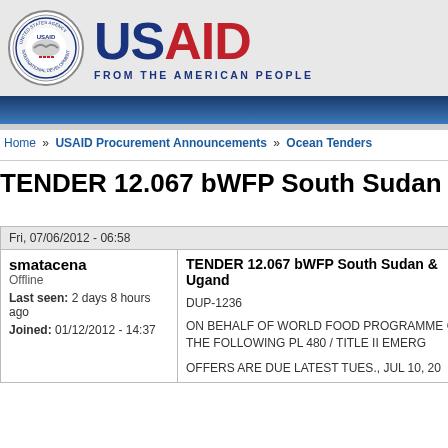[Figure (logo): USAID logo with seal on the left and 'USAID FROM THE AMERICAN PEOPLE' text on the right]
Home » USAID Procurement Announcements » Ocean Tenders
TENDER 12.067 bWFP South Sudan & Uganda
Fri, 07/06/2012 - 06:58
| User | Content |
| --- | --- |
| smatacena
Offline
Last seen: 2 days 8 hours ago
Joined: 01/12/2012 - 14:37 | TENDER 12.067 bWFP South Sudan & Uganda
DUP-1236
ON BEHALF OF WORLD FOOD PROGRAMME OF THE FOLLOWING PL 480 / TITLE II EMERGENCY
OFFERS ARE DUE LATEST TUES., JUL 10, 20 |